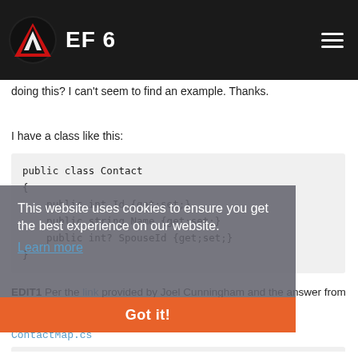EF 6
doing this? I can't seem to find an example. Thanks.
I have a class like this:
public class Contact
{
    public int Id {get;set;}
    public string Name {get;set;}
    public int? SpouseId {get;set;}
}
EDIT1 Per the link provided by Joel Cunningham and the answer from Morteza I have added some additional code.
ContactMap.cs
public partial class ContactMap : EntityTypeCo